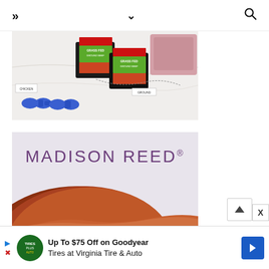navigation bar with menu, dropdown, and search icons
[Figure (photo): Overhead flat-lay photo showing blue dumbbells, packages of ground beef/meat products with green labels on black trays, and a piece of raw meat on a white marble surface]
[Figure (photo): Advertisement image showing MADISON REED logo in purple on a light grey background, with a woman's auburn/reddish-brown hair visible at the bottom]
[Figure (other): Advertisement banner: Up To $75 Off on Goodyear Tires at Virginia Tire & Auto, with Tires Plus Auto logo circle and blue directional arrow icon]